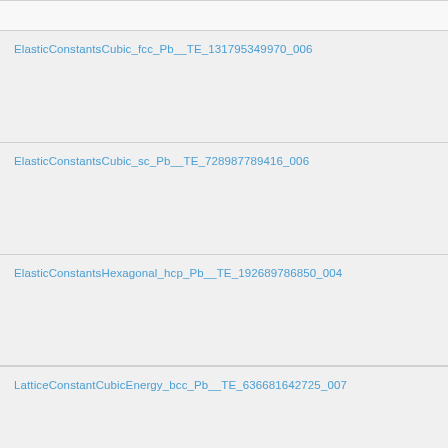ElasticConstantsCubic_fcc_Pb__TE_131795349970_006
ElasticConstantsCubic_sc_Pb__TE_728987789416_006
ElasticConstantsHexagonal_hcp_Pb__TE_192689786850_004
LatticeConstantCubicEnergy_bcc_Pb__TE_636681642725_007